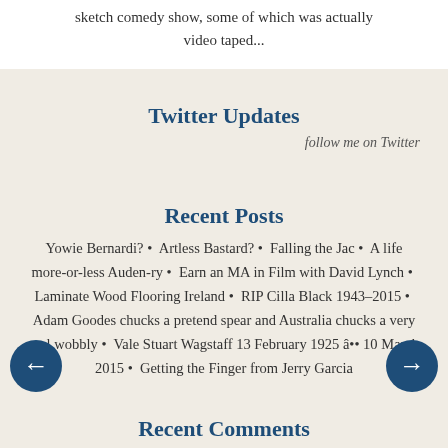sketch comedy show, some of which was actually video taped...
Twitter Updates
follow me on Twitter
Recent Posts
Yowie Bernardi? • Artless Bastard? • Falling the Jac • A life more-or-less Auden-ry • Earn an MA in Film with David Lynch • Laminate Wood Flooring Ireland • RIP Cilla Black 1943-2015 • Adam Goodes chucks a pretend spear and Australia chucks a very real wobbly • Vale Stuart Wagstaff 13 February 1925 â•• 10 March 2015 • Getting the Finger from Jerry Garcia
Recent Comments